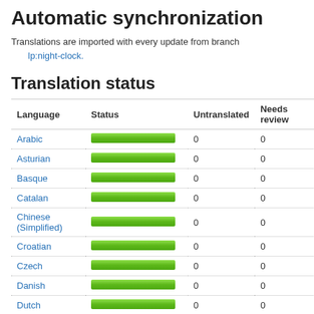Automatic synchronization
Translations are imported with every update from branch
    lp:night-clock.
Translation status
| Language | Status | Untranslated | Needs review | Last Ch |
| --- | --- | --- | --- | --- |
| Arabic | [green bar] | 0 | 0 | 2016-07 |
| Asturian | [green bar] | 0 | 0 | 2016-07 |
| Basque | [green bar] | 0 | 0 | 2016-07 |
| Catalan | [green bar] | 0 | 0 | 2016-07 |
| Chinese (Simplified) | [green bar] | 0 | 0 | 2016-07 |
| Croatian | [green bar] | 0 | 0 | 2019-11 |
| Czech | [green bar] | 0 | 0 | 2016-07 |
| Danish | [green bar] | 0 | 0 | 2016-07 |
| Dutch | [green bar] | 0 | 0 | 2016-07 |
| English | [green bar] | 0 | 0 | 2016-07 |